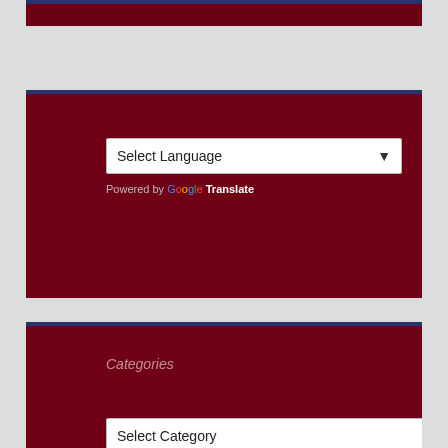[Figure (screenshot): Top dark maroon widget bar, partially visible at top of page]
[Figure (screenshot): Google Translate widget block with 'Select Language' dropdown and 'Powered by Google Translate' text on dark maroon background]
[Figure (screenshot): Categories widget block with 'Categories' heading and 'Select Category' dropdown on dark maroon background]
[Figure (screenshot): Trending Now widget block partially visible at the bottom of the page with 'Trending Now' heading on dark maroon background]